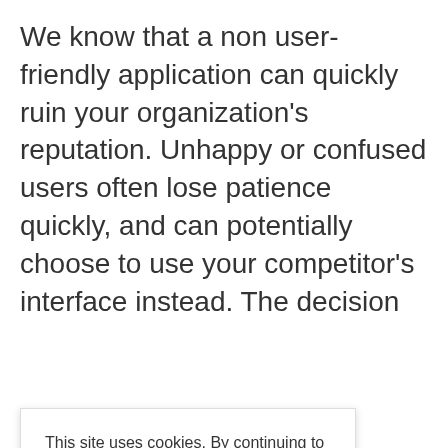We know that a non user-friendly application can quickly ruin your organization's reputation. Unhappy or confused users often lose patience quickly, and can potentially choose to use your competitor's interface instead. The decision
[Figure (screenshot): Cookie consent overlay dialog with text about cookie usage, a 'Web Privacy Policy' link, and a green 'ACCEPT' button]
in only app or stand this g, hence ve. mportant.
But what is it?